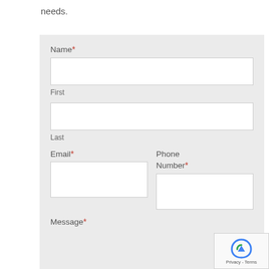needs.
Name *
First
Last
Email *
Phone Number *
Message *